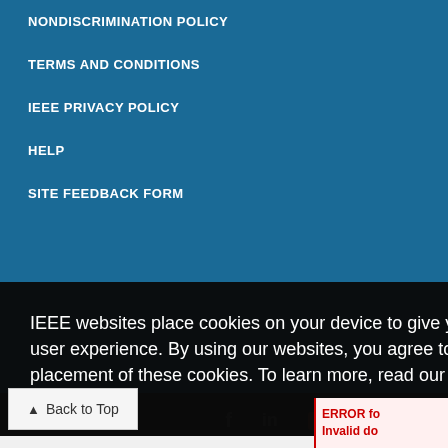NONDISCRIMINATION POLICY
TERMS AND CONDITIONS
IEEE PRIVACY POLICY
HELP
SITE FEEDBACK FORM
IEEE websites place cookies on your device to give you the best user experience. By using our websites, you agree to the placement of these cookies. To learn more, read our Privacy Policy.
Accept & Close
Back to Top
ERROR fo
Invalid do